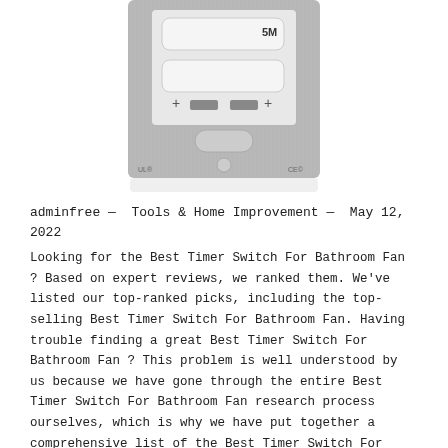[Figure (photo): Photo of a bathroom fan timer switch device, showing a brushed metal wall plate with white rocker/slider controls and the label '5M' visible. The device has two white paddle-style buttons at the top and a slot/opening at the bottom.]
adminfree — Tools & Home Improvement — May 12, 2022
Looking for the Best Timer Switch For Bathroom Fan ? Based on expert reviews, we ranked them. We've listed our top-ranked picks, including the top-selling Best Timer Switch For Bathroom Fan. Having trouble finding a great Best Timer Switch For Bathroom Fan ? This problem is well understood by us because we have gone through the entire Best Timer Switch For Bathroom Fan research process ourselves, which is why we have put together a comprehensive list of the Best Timer Switch For Bathroom Fan s available in the market today.